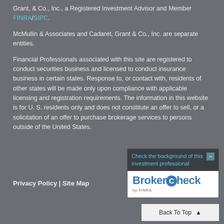Grant, & Co., Inc., a Registered Investment Advisor and Member FINRA/SIPC.
McMullin & Associates and Cadaret, Grant & Co., Inc. are separate entities.
Financial Professionals associated with this site are registered to conduct securities business and licensed to conduct insurance business in certain states. Response to, or contact with, residents of other states will be made only upon compliance with applicable licensing and registration requirements. The information in this website is for U. S. residents only and does not constitute an offer to sell, or a solicitation of an offer to purchase brokerage services to persons outside of the United States.
Privacy Policy | Site Map
[Figure (other): BrokerCheck by FINRA widget with header text 'Check the background of this investment professional' and BrokerCheck logo]
Back To Top